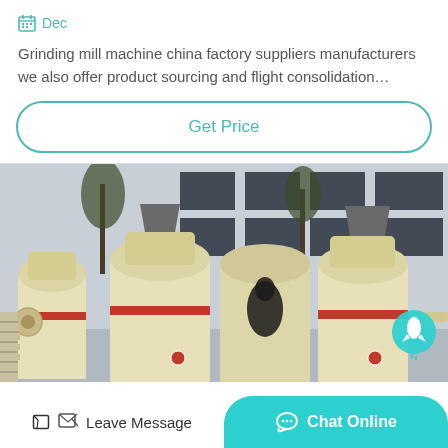Dec
Grinding mill machine china factory suppliers manufacturers we also offer product sourcing and flight consolidation…
Get Price
[Figure (photo): Outdoor industrial setting showing multiple large cream/yellow colored grinding mill machines with red trim, arranged in a row in front of a factory building. Trees visible in background.]
Leave Message
Chat Online